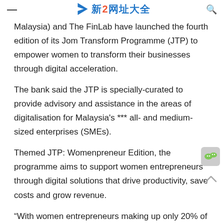新2网址大全
Malaysia) and The FinLab have launched the fourth edition of its Jom Transform Programme (JTP) to empower women to transform their businesses through digital acceleration.
The bank said the JTP is specially-curated to provide advisory and assistance in the areas of digitalisation for Malaysia's *** all- and medium-sized enterprises (SMEs).
Themed JTP: Womenpreneur Edition, the programme aims to support women entrepreneurs through digital solutions that drive productivity, save costs and grow revenue.
“With women entrepreneurs making up only 20% of Malaysian SMEs, we see potential in supporting female-led businesses to thrive, particularly in e-commerce5. And this is why the Bank is creating an ecosystem through JTP to connect women entrepreneurs to one another and open doors to opportunities.